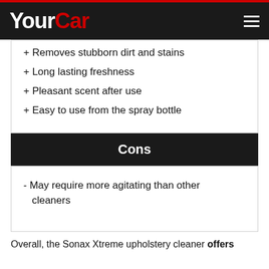YourCar
+ Removes stubborn dirt and stains
+ Long lasting freshness
+ Pleasant scent after use
+ Easy to use from the spray bottle
Cons
- May require more agitating than other cleaners
Overall, the Sonax Xtreme upholstery cleaner offers